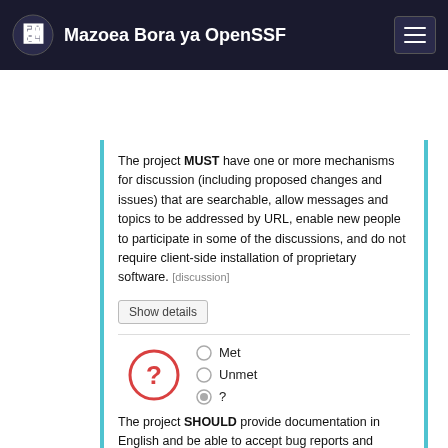Mazoea Bora ya OpenSSF
The project MUST have one or more mechanisms for discussion (including proposed changes and issues) that are searchable, allow messages and topics to be addressed by URL, enable new people to participate in some of the discussions, and do not require client-side installation of proprietary software. [discussion]
[Figure (other): Show details button below the first text block]
[Figure (other): Question mark icon with radio buttons: Met, Unmet, ? (selected)]
The project SHOULD provide documentation in English and be able to accept bug reports and comments about code in English. [english]